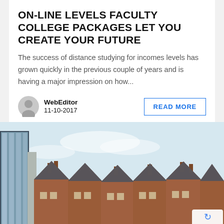ON-LINE LEVELS FACULTY COLLEGE PACKAGES LET YOU CREATE YOUR FUTURE
The success of distance studying for incomes levels has grown quickly in the previous couple of years and is having a major impression on how...
WebEditor
11-10-2017
[Figure (photo): Photograph of a row of brick terraced houses with slate roofs and chimneys, alongside a modern glass building on the left, under a light blue sky.]